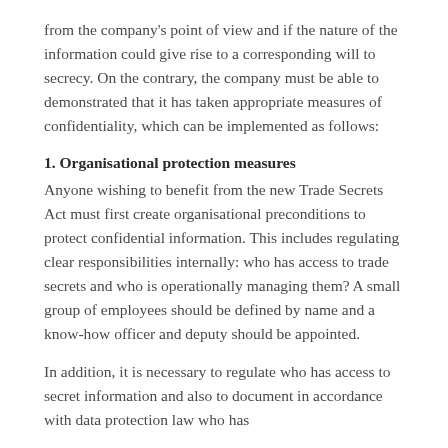from the company's point of view and if the nature of the information could give rise to a corresponding will to secrecy. On the contrary, the company must be able to demonstrated that it has taken appropriate measures of confidentiality, which can be implemented as follows:
1. Organisational protection measures
Anyone wishing to benefit from the new Trade Secrets Act must first create organisational preconditions to protect confidential information. This includes regulating clear responsibilities internally: who has access to trade secrets and who is operationally managing them? A small group of employees should be defined by name and a know-how officer and deputy should be appointed.
In addition, it is necessary to regulate who has access to secret information and also to document in accordance with data protection law who has